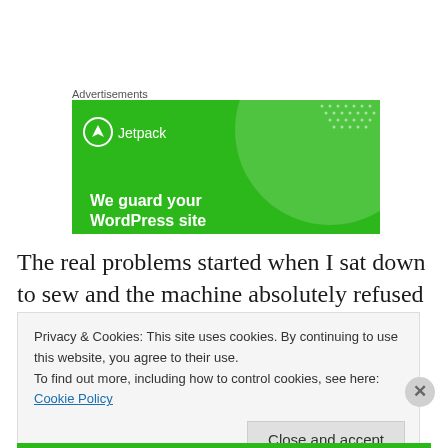Advertisements
[Figure (illustration): Jetpack advertisement banner with green background showing Jetpack logo and tagline 'We guard your WordPress site']
The real problems started when I sat down to sew and the machine absolutely refused to stitch – missing stitches.
Privacy & Cookies: This site uses cookies. By continuing to use this website, you agree to their use.
To find out more, including how to control cookies, see here: Cookie Policy
Close and accept